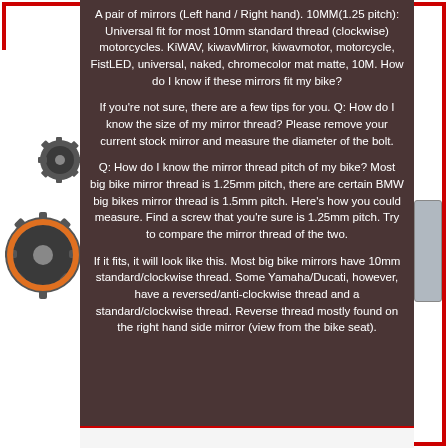A pair of mirrors (Left hand / Right hand). 10MM(1.25 pitch): Universal fit for most 10mm standard thread (clockwise) motorcycles. KiWAV, kiwavMirror, kiwavmotor, motorcycle, FistLED, universal, naked, chromecolor mat matte, 10M. How do I know if these mirrors fit my bike?
If you're not sure, there are a few tips for you. Q: How do I know the size of my mirror thread? Please remove your current stock mirror and measure the diameter of the bolt.
Q: How do I know the mirror thread pitch of my bike? Most big bike mirror thread is 1.25mm pitch, there are certain BMW big bikes mirror thread is 1.5mm pitch. Here's how you could measure. Find a screw that you're sure is 1.25mm pitch. Try to compare the mirror thread of the two.
If it fits, it will look like this. Most big bike mirrors have 10mm standard/clockwise thread. Some Yamaha/Ducati, however, have a reversed/anti-clockwise thread and a standard/clockwise thread. Reverse thread mostly found on the right hand side mirror (view from the bike seat).